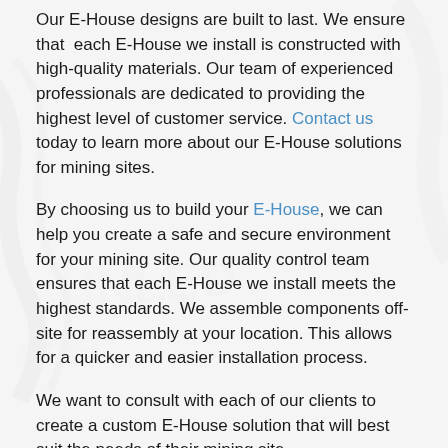Our E-House designs are built to last. We ensure that each E-House we install is constructed with high-quality materials. Our team of experienced professionals are dedicated to providing the highest level of customer service. Contact us today to learn more about our E-House solutions for mining sites.
By choosing us to build your E-House, we can help you create a safe and secure environment for your mining site. Our quality control team ensures that each E-House we install meets the highest standards. We assemble components off-site for reassembly at your location. This allows for a quicker and easier installation process.
We want to consult with each of our clients to create a custom E-House solution that will best suit the needs of their mining site.
We understand that each mining operation is unique and has